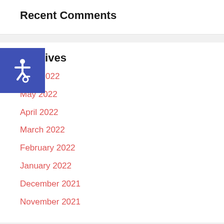Recent Comments
[Figure (illustration): Accessibility wheelchair icon button in blue/indigo square]
Archives
June 2022
May 2022
April 2022
March 2022
February 2022
January 2022
December 2021
November 2021